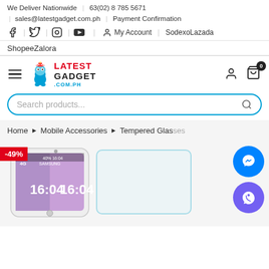We Deliver Nationwide | 63(02) 8 785 5671
sales@latestgadget.com.ph | Payment Confirmation
Facebook | Twitter | Instagram | YouTube | My Account | SodexoLazada
ShopeeZalora
[Figure (logo): Latest Gadget .com.ph logo with cartoon character]
Search products...
Home > Mobile Accessories > Tempered Glass Cases
[Figure (photo): Samsung smartphone with -49% discount badge and tempered glass protector]